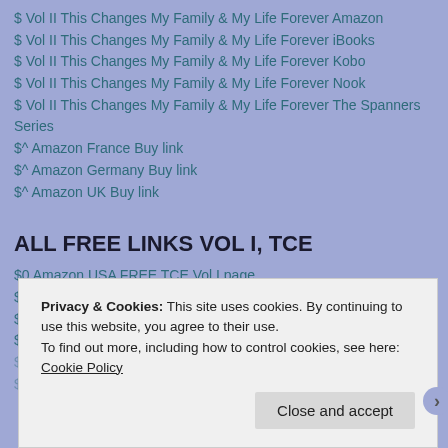$ Vol II This Changes My Family & My Life Forever Amazon
$ Vol II This Changes My Family & My Life Forever iBooks
$ Vol II This Changes My Family & My Life Forever Kobo
$ Vol II This Changes My Family & My Life Forever Nook
$ Vol II This Changes My Family & My Life Forever The Spanners Series
$^ Amazon France Buy link
$^ Amazon Germany Buy link
$^ Amazon UK Buy link
ALL FREE LINKS VOL I, TCE
$0 Amazon USA FREE TCE Vol I page
$0 iBooks FREE page TCE
$0 Kobo FREE page TCE
$0 nook FREE page TCE
Privacy & Cookies: This site uses cookies. By continuing to use this website, you agree to their use.
To find out more, including how to control cookies, see here: Cookie Policy